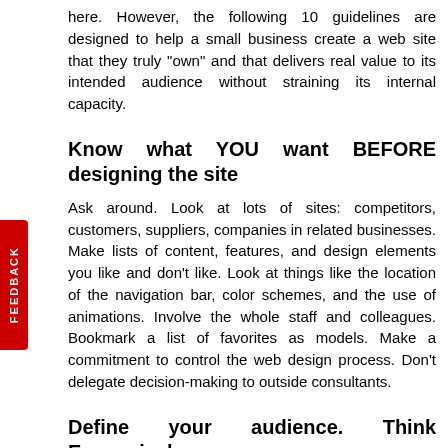here. However, the following 10 guidelines are designed to help a small business create a web site that they truly “own” and that delivers real value to its intended audience without straining its internal capacity.
Know what YOU want BEFORE designing the site
Ask around. Look at lots of sites: competitors, customers, suppliers, companies in related businesses. Make lists of content, features, and design elements you like and don’t like. Look at things like the location of the navigation bar, color schemes, and the use of animations. Involve the whole staff and colleagues. Bookmark a list of favorites as models. Make a commitment to control the web design process. Don’t delegate decision-making to outside consultants.
Define your audience. Think Expansively
Who is included in your world: customers, prospects,